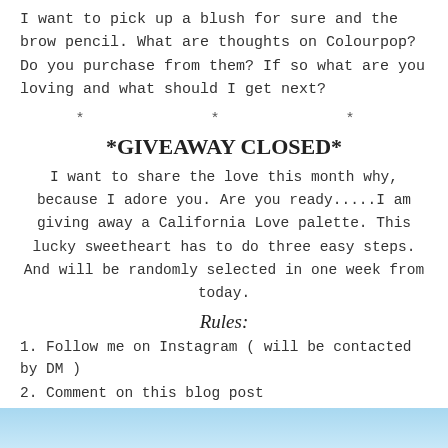I want to pick up a blush for sure and the brow pencil. What are thoughts on Colourpop? Do you purchase from them? If so what are you loving and what should I get next?
* * *
*GIVEAWAY CLOSED*
I want to share the love this month why, because I adore you. Are you ready.....I am giving away a California Love palette. This lucky sweetheart has to do three easy steps. And will be randomly selected in one week from today.
Rules:
1. Follow me on Instagram ( will be contacted by DM )
2. Comment on this blog post
3. Tag someone on the latest post on Instagram
[Figure (photo): Blue gradient image strip at the bottom of the page]